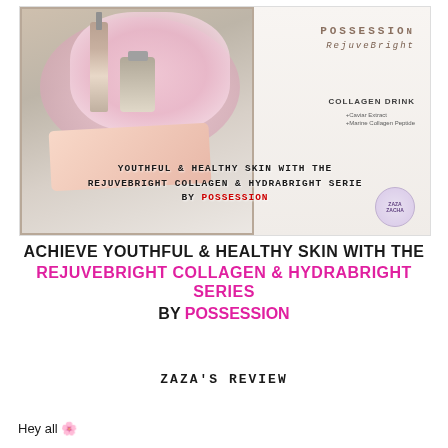[Figure (photo): Product photo showing Possession RejuveBright skincare products including bottles and collagen drink box in a gift box with pink paper filler, with overlaid text about youthful and healthy skin]
ACHIEVE YOUTHFUL & HEALTHY SKIN WITH THE REJUVEBRIGHT COLLAGEN & HYDRABRIGHT SERIES BY POSSESSION
ZAZA'S REVIEW
Hey all 🌸